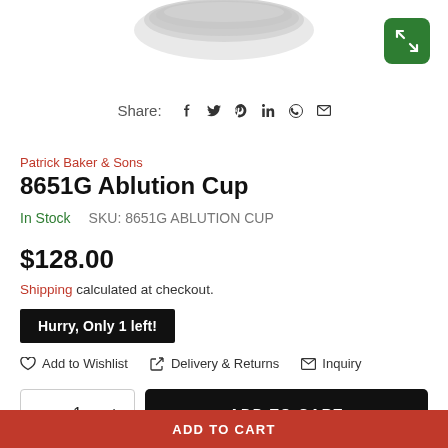[Figure (photo): Product photo of a silver/metallic ablution cup, partially visible at the top of the page]
[Figure (screenshot): Green expand/fullscreen button icon in top-right corner]
Share: (social icons: Facebook, Twitter, Pinterest, LinkedIn, WhatsApp, Email)
Patrick Baker & Sons
8651G Ablution Cup
In Stock   SKU: 8651G ABLUTION CUP
$128.00
Shipping calculated at checkout.
Hurry, Only 1 left!
Add to Wishlist   Delivery & Returns   Inquiry
− 1 + ADD TO CART
ADD TO CART